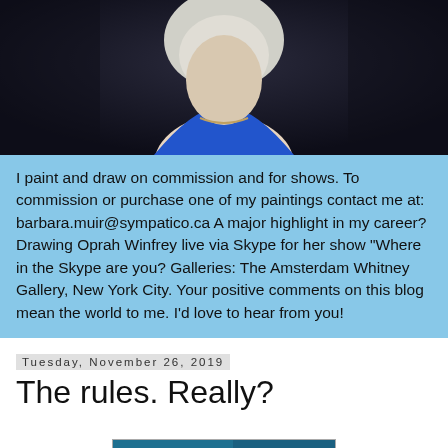[Figure (photo): Close-up photo of a person with white/blonde hair wearing a blue jacket and necklace, against a dark background]
I paint and draw on commission and for shows. To commission or purchase one of my paintings contact me at: barbara.muir@sympatico.ca A major highlight in my career? Drawing Oprah Winfrey live via Skype for her show "Where in the Skype are you? Galleries: The Amsterdam Whitney Gallery, New York City. Your positive comments on this blog mean the world to me. I'd love to hear from you!
Tuesday, November 26, 2019
The rules. Really?
[Figure (photo): Partial view of an artwork showing teal/blue and golden/yellow colors]